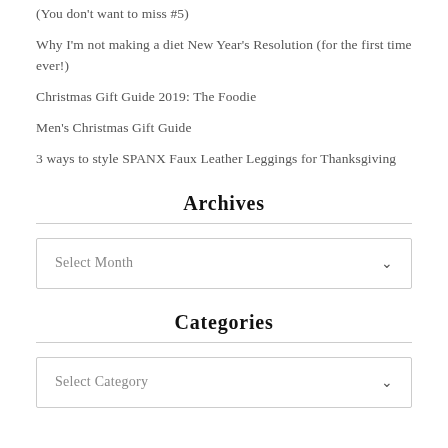(You don't want to miss #5)
Why I'm not making a diet New Year's Resolution (for the first time ever!)
Christmas Gift Guide 2019: The Foodie
Men's Christmas Gift Guide
3 ways to style SPANX Faux Leather Leggings for Thanksgiving
Archives
Select Month
Categories
Select Category